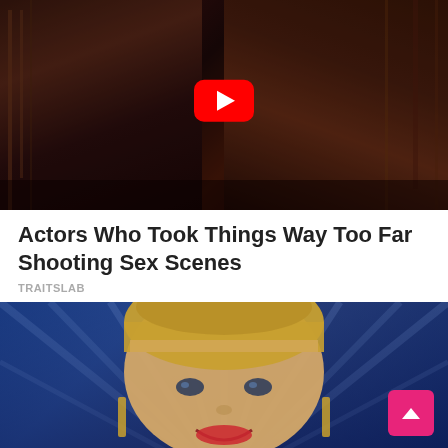[Figure (screenshot): Dark scene with two people, overlaid with a YouTube red play button in the center]
Actors Who Took Things Way Too Far Shooting Sex Scenes
TRAITSLAB
[Figure (photo): Smiling blonde woman with short hair, red lipstick, and gold earrings, seated against a blue light backdrop resembling American Idol set]